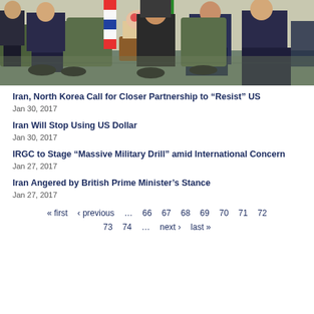[Figure (photo): Group of officials seated in armchairs in a formal meeting room with flags and a floral arrangement on a table between them]
Iran, North Korea Call for Closer Partnership to “Resist” US
Jan 30, 2017
Iran Will Stop Using US Dollar
Jan 30, 2017
IRGC to Stage “Massive Military Drill” amid International Concern
Jan 27, 2017
Iran Angered by British Prime Minister’s Stance
Jan 27, 2017
« first  ‹ previous  …  66  67  68  69  70  71  72  73  74  …  next ›  last »